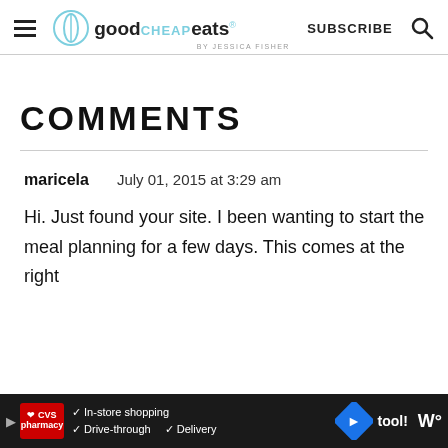good CHEAP eats by Jessica Fisher | SUBSCRIBE
COMMENTS
maricela   July 01, 2015 at 3:29 am
Hi. Just found your site. I been wanting to start the meal planning for a few days. This comes at the right tool!
[Figure (other): CVS Pharmacy advertisement banner at bottom: In-store shopping, Drive-through, Delivery with CVS logo and navigation arrow icon]